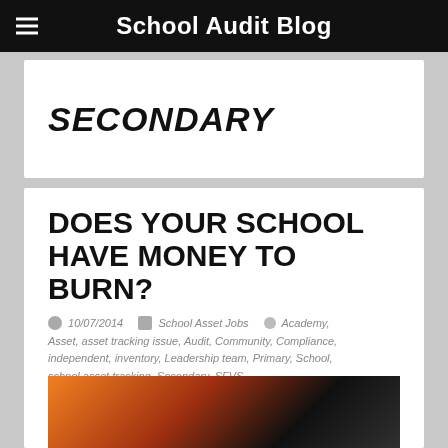School Audit Blog
SECONDARY
DOES YOUR SCHOOL HAVE MONEY TO BURN?
10/07/2014   School Asset Jobs   Academy, Asset, asset tracking issue, Audit, Community, Compliance, independent, inventory, Leadership team, Primary, School, school asset tracking, Secondary, SFVS
[Figure (photo): Partial thumbnail image showing fire/flames, bottom of article card]